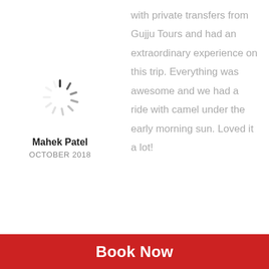[Figure (illustration): Loading spinner icon (circular dashed spinner graphic)]
Mahek Patel
OCTOBER 2018
with private transfers from Gujju Tours and had an extraordinary experience on this trip. Everything was awesome and we had a ride with camel under the early morning sun. Loved it a lot!
Book Now